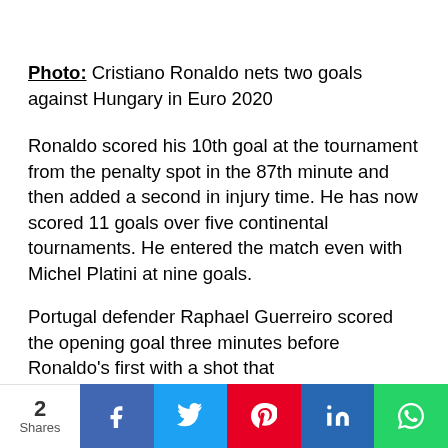Photo: Cristiano Ronaldo nets two goals against Hungary in Euro 2020
Ronaldo scored his 10th goal at the tournament from the penalty spot in the 87th minute and then added a second in injury time. He has now scored 11 goals over five continental tournaments. He entered the match even with Michel Platini at nine goals.
Portugal defender Raphael Guerreiro scored the opening goal three minutes before Ronaldo's first with a shot that
2 Shares | Facebook | Twitter | Pinterest | LinkedIn | WhatsApp